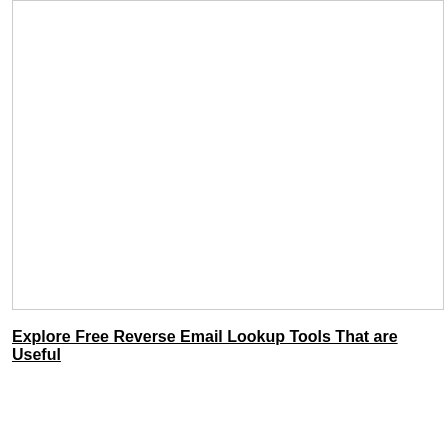[Figure (other): Empty white rectangle with a thin border, representing a placeholder image area.]
Explore Free Reverse Email Lookup Tools That are Useful